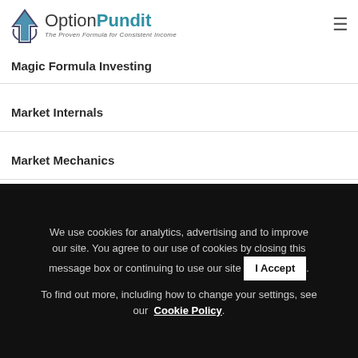OptionPundit – The Proven Formula for Consistent Income
Magic Formula Investing
Market Internals
Market Mechanics
Market Psychology
Music
We use cookies for analytics, advertising and to improve our site. You agree to our use of cookies by closing this message box or continuing to use our site [I Accept]. To find out more, including how to change your settings, see our Cookie Policy.